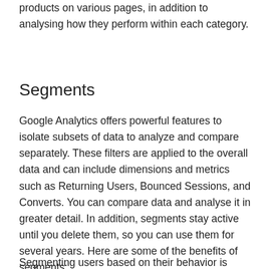view metrics to measure the rank of your products on various pages, in addition to analysing how they perform within each category.
Segments
Google Analytics offers powerful features to isolate subsets of data to analyze and compare separately. These filters are applied to the overall data and can include dimensions and metrics such as Returning Users, Bounced Sessions, and Converts. You can compare data and analyse it in greater detail. In addition, segments stay active until you delete them, so you can use them for several years. Here are some of the benefits of segments:
Segmenting users based on their behavior is